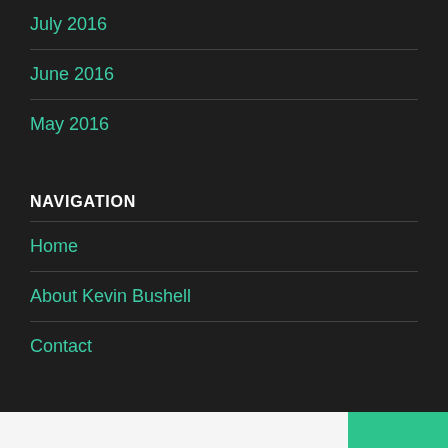July 2016
June 2016
May 2016
NAVIGATION
Home
About Kevin Bushell
Contact